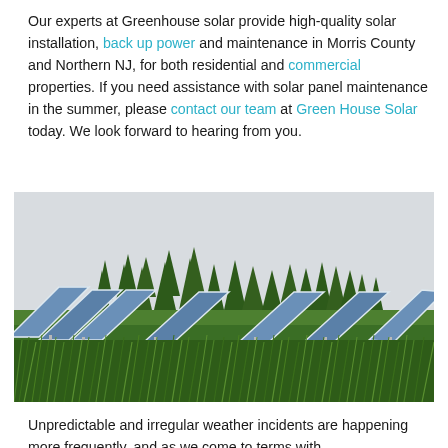Our experts at Greenhouse solar provide high-quality solar installation, back up power and maintenance in Morris County and Northern NJ, for both residential and commercial properties. If you need assistance with solar panel maintenance in the summer, please contact our team at Green House Solar today. We look forward to hearing from you.
[Figure (photo): Photograph of large solar panels in a green grassy field with tall evergreen trees in the background against a light grey sky.]
Unpredictable and irregular weather incidents are happening more frequently, and as we come to terms with